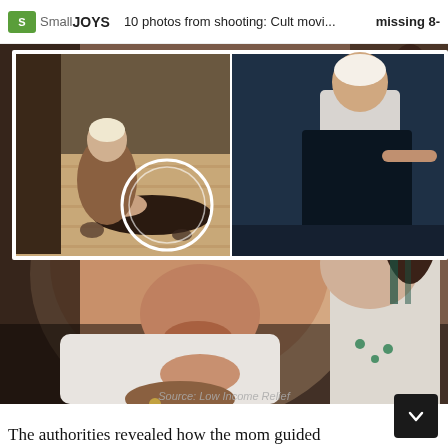SmallJOYS  10 photos from shooting: Cult movi...  missing 8-
[Figure (photo): Two side-by-side movie stills: left shows a woman crouching over a person lying on a wooden floor with a white circle highlight; right shows a woman in a light blue dress sitting in a dark room]
[Figure (photo): Close-up photo of a newborn baby being held, with tiny hands visible and adult hands cradling the infant in white clothing]
Source: Low Income Relief
The authorities revealed how the mom guided